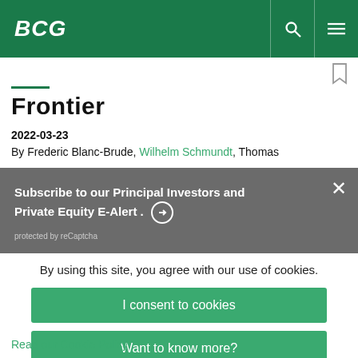BCG
Frontier
2022-03-23
By Frederic Blanc-Brude, Wilhelm Schmundt, Thomas
Subscribe to our Principal Investors and Private Equity E-Alert.
protected by reCaptcha
By using this site, you agree with our use of cookies.
I consent to cookies
Want to know more?
Read our Cookie Policy